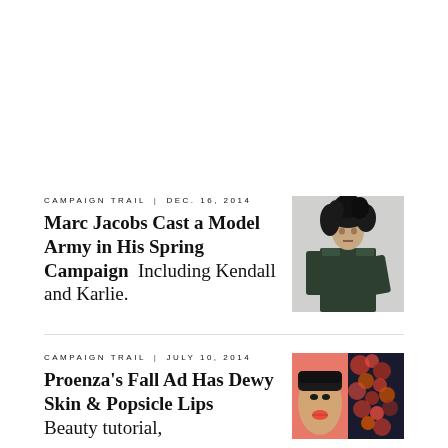CAMPAIGN TRAIL  |  DEC. 16, 2014
Marc Jacobs Cast a Model Army in His Spring Campaign  Including Kendall and Karlie.
[Figure (photo): Model in a dark green military-style outfit, leaning forward with wild dark hair, against a light grey background]
CAMPAIGN TRAIL  |  JULY 10, 2014
Proenza's Fall Ad Has Dewy Skin & Popsicle Lips  Beauty tutorial, please.
[Figure (photo): Close-up of a model's face with bold colourful makeup, next to a floral/abstract pattern]